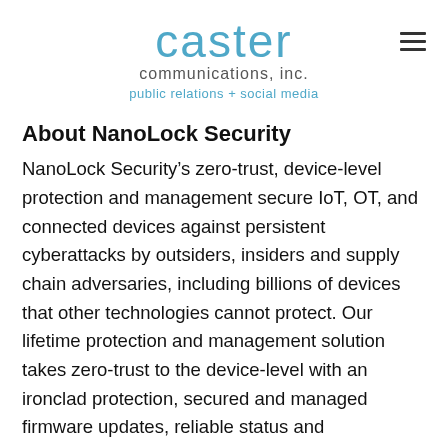caster communications, inc. public relations + social media
About NanoLock Security
NanoLock Security’s zero-trust, device-level protection and management secure IoT, OT, and connected devices against persistent cyberattacks by outsiders, insiders and supply chain adversaries, including billions of devices that other technologies cannot protect. Our lifetime protection and management solution takes zero-trust to the device-level with an ironclad protection, secured and managed firmware updates, reliable status and